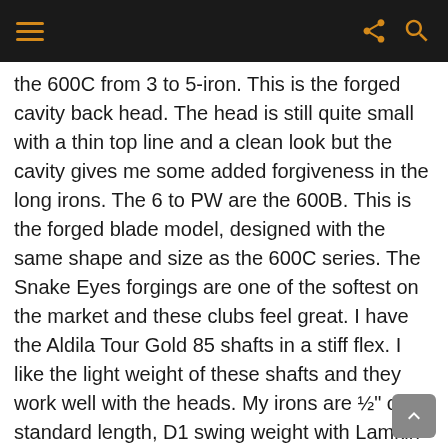[navigation bar with menu, share, and search icons]
the 600C from 3 to 5-iron. This is the forged cavity back head. The head is still quite small with a thin top line and a clean look but the cavity gives me some added forgiveness in the long irons. The 6 to PW are the 600B. This is the forged blade model, designed with the same shape and size as the 600C series. The Snake Eyes forgings are one of the softest on the market and these clubs feel great. I have the Aldila Tour Gold 85 shafts in a stiff flex. I like the light weight of these shafts and they work well with the heads. My irons are ½" over standard length, D1 swing weight with Lamkin Quarter-Cord grips.
My wedges are Snake Eyes too. I carry a 52 and 56